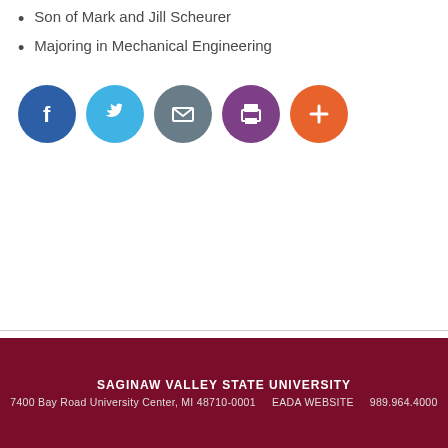Son of Mark and Jill Scheurer
Majoring in Mechanical Engineering
[Figure (infographic): Row of five social media / action icon circles: Facebook (blue), Twitter (light blue), Email (gray), Print (purple), Add/Plus (orange)]
SAGINAW VALLEY STATE UNIVERSITY
7400 Bay Road University Center, MI 48710-0001   EADA WEBSITE   989.964.4000